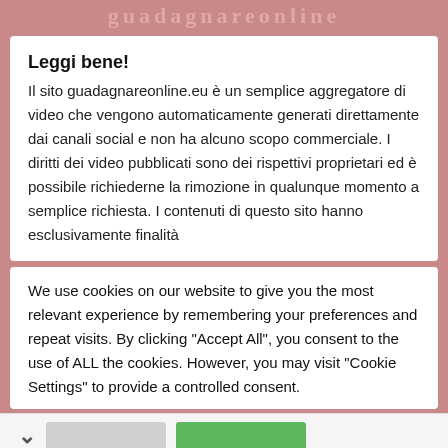guadagnareonline
Leggi bene!
Il sito guadagnareonline.eu è un semplice aggregatore di video che vengono automaticamente generati direttamente dai canali social e non ha alcuno scopo commerciale. I diritti dei video pubblicati sono dei rispettivi proprietari ed è possibile richiederne la rimozione in qualunque momento a semplice richiesta. I contenuti di questo sito hanno esclusivamente finalità
We use cookies on our website to give you the most relevant experience by remembering your preferences and repeat visits. By clicking "Accept All", you consent to the use of ALL the cookies. However, you may visit "Cookie Settings" to provide a controlled consent.
Leibish Fancy Brown Pear Diamond 0.59 Ct I2 GIA